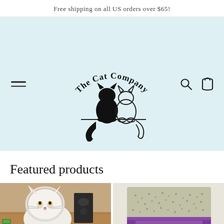Free shipping on all US orders over $65!
[Figure (logo): The Cat Company logo: text 'The Cat Company' arched over silhouette of black cat and white cat sitting side by side on a surface]
Featured products
[Figure (photo): Photo of a fluffy white Persian cat indoors with wooden floor background and green toy]
[Figure (photo): Photo of a bag of cat litter or seeds product with purple label]